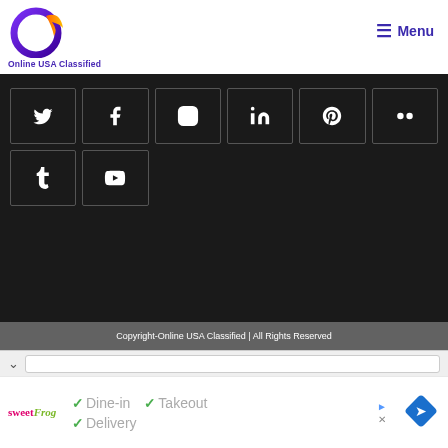Online USA Classified — Menu
[Figure (screenshot): Social media icons grid on dark background: Twitter, Facebook, Instagram, LinkedIn, Pinterest, Flickr, Tumblr, YouTube]
Copyright-Online USA Classified | All Rights Reserved
[Figure (screenshot): Browser navigation bar with chevron and URL field]
✓ Dine-in  ✓ Takeout  ✓ Delivery — sweetFrog ad with navigation arrow